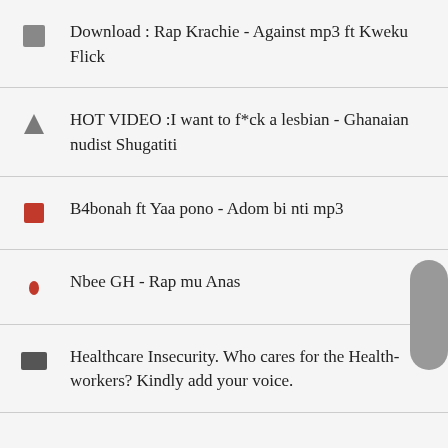Download : Rap Krachie - Against mp3 ft Kweku Flick
HOT VIDEO :I want to f*ck a lesbian - Ghanaian nudist Shugatiti
B4bonah ft Yaa pono - Adom bi nti mp3
Nbee GH - Rap mu Anas
Healthcare Insecurity. Who cares for the Health-workers? Kindly add your voice.